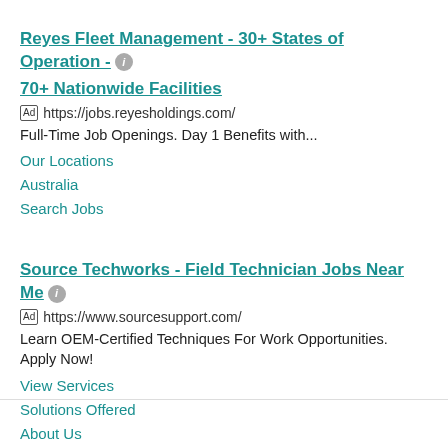Reyes Fleet Management - 30+ States of Operation - 70+ Nationwide Facilities [Ad] https://jobs.reyesholdings.com/ Full-Time Job Openings. Day 1 Benefits with... Our Locations Australia Search Jobs
Source Techworks - Field Technician Jobs Near Me [Ad] https://www.sourcesupport.com/ Learn OEM-Certified Techniques For Work Opportunities. Apply Now! View Services Solutions Offered About Us Browse Industries